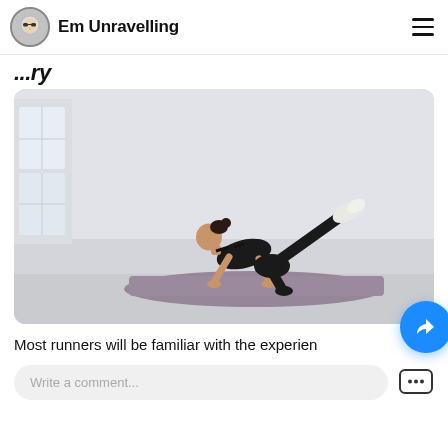Em Unravelling
...ry
[Figure (photo): Woman in black athletic wear performing a bird-dog exercise on a purple yoga mat in a bright white studio room. She is on all fours with one leg extended straight behind her at an angle upward, wearing white sneakers.]
Most runners will be familiar with the experien...
Write a comment...